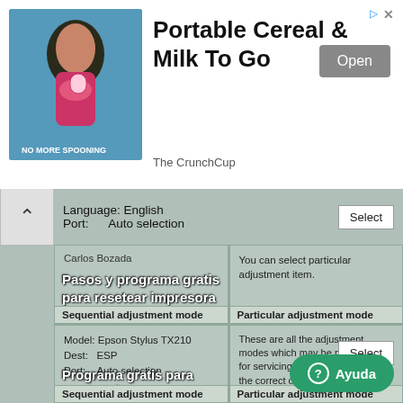[Figure (screenshot): Advertisement banner for The CrunchCup - Portable Cereal & Milk To Go, with an image of a woman drinking from a cup on the left, bold title text, and an Open button]
Language: English
Port: Auto selection
Carlos Bozada
Pasos y programa gratis para resetear impresora Epson L380
You can select particular adjustment item.
Sequential adjustment mode
Particular adjustment mode
Model: Epson Stylus TX210
Dest: ESP
Port: Auto selection
These are all the adjustment modes which may be necessary for servicing the devise. It gives the correct order to replacement (repaired) parts. Multiple mode.
Programa gratis para resetear impresora Epson Stylus TX210
You can select particular adjustment item.
Sequential adjustment mode
Particular adjustment mode
Ayuda